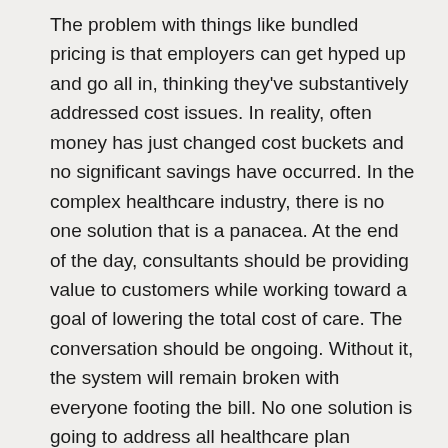The problem with things like bundled pricing is that employers can get hyped up and go all in, thinking they've substantively addressed cost issues. In reality, often money has just changed cost buckets and no significant savings have occurred. In the complex healthcare industry, there is no one solution that is a panacea. At the end of the day, consultants should be providing value to customers while working toward a goal of lowering the total cost of care. The conversation should be ongoing. Without it, the system will remain broken with everyone footing the bill. No one solution is going to address all healthcare plan concerns. Especially when you consider that most of these programs only operate on the margins. Beware that the next silver bullet doesn't hit you in the foot, making you go from hero to zero.